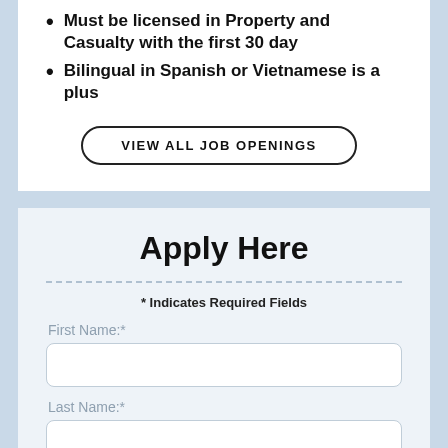Must be licensed in Property and Casualty with the first 30 day
Bilingual in Spanish or Vietnamese is a plus
VIEW ALL JOB OPENINGS
Apply Here
* Indicates Required Fields
First Name:*
Last Name:*
Email:*